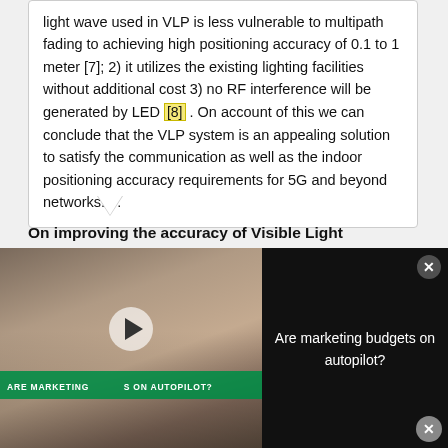light wave used in VLP is less vulnerable to multipath fading to achieving high positioning accuracy of 0.1 to 1 meter [7]; 2) it utilizes the existing lighting facilities without additional cost 3) no RF interference will be generated by LED [8] . On account of this we can conclude that the VLP system is an appealing solution to satisfy the communication as well as the indoor positioning accuracy requirements for 5G and beyond networks. ...
On improving the accuracy of Visible Light Positioning
[Figure (screenshot): Video advertisement overlay showing people in a meeting with text 'Are marketing budgets on autopilot?']
Advertisement
Back To School Shopping Deals
Leesburg Premium Outlets